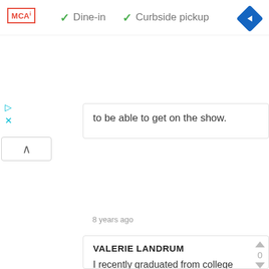✓ Dine-in  ✓ Curbside pickup
[Figure (logo): MCA logo badge in red border]
[Figure (other): Blue diamond navigation arrow icon]
to be able to get on the show.
8 years ago
VALERIE LANDRUM
I recently graduated from college and I need to pay off school loans and my job alone won't pay for them as quickly as I would like. I want to take my family on a vacation after 3 years of school and not spending that time with my family. They have been so
[Figure (other): Social share icons: Facebook, Twitter, WhatsApp, Email, share arrow]